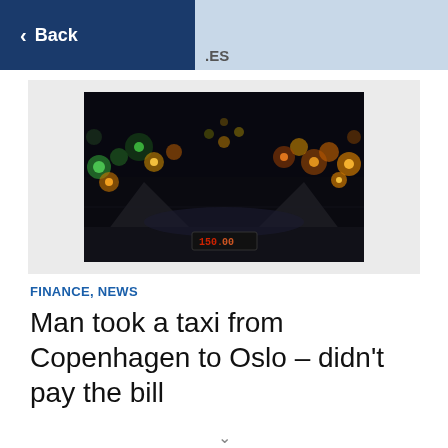< Back .ES
[Figure (photo): Night city street scene viewed from inside a taxi, showing bokeh city lights and a taxi meter display visible in the foreground]
FINANCE, NEWS
Man took a taxi from Copenhagen to Oslo – didn't pay the bill